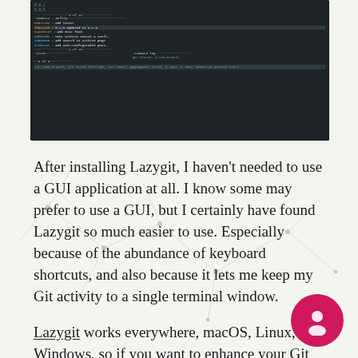[Figure (screenshot): Terminal screenshot showing Lazygit interface with git log, stash panel, and command log panels. Shows commit hashes in yellow/cyan, commit messages, branch navigation hints at bottom.]
After installing Lazygit, I haven't needed to use a GUI application at all. I know some may prefer to use a GUI, but I certainly have found Lazygit so much easier to use. Especially because of the abundance of keyboard shortcuts, and also because it lets me keep my Git activity to a single terminal window.
Lazygit works everywhere, macOS, Linux, or Windows, so if you want to enhance your Git experience in the command line, I'd definitely recommend checking